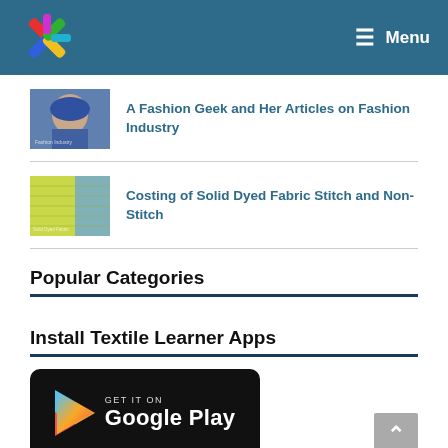[Figure (logo): Colorful geometric pinwheel logo on dark teal header background]
[Figure (screenshot): Thumbnail image for 'A Fashion Geek and Her Articles on Fashion Industry' article showing a woman's face]
A Fashion Geek and Her Articles on Fashion Industry
[Figure (photo): Thumbnail image for 'Costing of Solid Dyed Fabric Stitch and Non-Stitch' article showing yellow/green fabric]
Costing of Solid Dyed Fabric Stitch and Non-Stitch
Popular Categories
Install Textile Learner Apps
[Figure (screenshot): Google Play Store badge: GET IT ON Google Play, black rounded rectangle with Play triangle logo in red/yellow/green/blue]